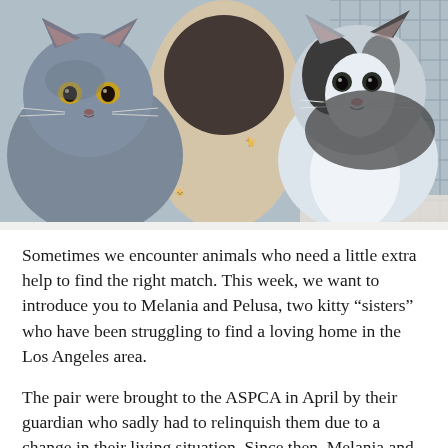[Figure (photo): Two cats photographed together. On the left, a gray cat (Melania) peeks out from inside a round tunnel/tube toy decorated with cat illustrations. On the right, a black and white cat (Pelusa) sits upright against a wire cage background.]
Sometimes we encounter animals who need a little extra help to find the right match. This week, we want to introduce you to Melania and Pelusa, two kitty “sisters” who have been struggling to find a loving home in the Los Angeles area.
The pair were brought to the ASPCA in April by their guardian who sadly had to relinquish them due to a change in their living situation. Since then, Melania and Pelusa have been waiting to